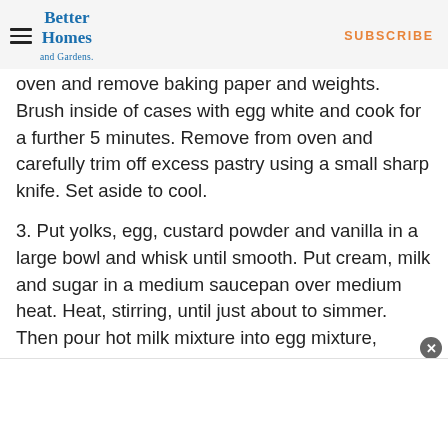Better Homes and Gardens | SUBSCRIBE
oven and remove baking paper and weights. Brush inside of cases with egg white and cook for a further 5 minutes. Remove from oven and carefully trim off excess pastry using a small sharp knife. Set aside to cool.
3. Put yolks, egg, custard powder and vanilla in a large bowl and whisk until smooth. Put cream, milk and sugar in a medium saucepan over medium heat. Heat, stirring, until just about to simmer. Then pour hot milk mixture into egg mixture, whisking constantly as you pour.
4. Strain mixture through a fine sieve, over a large